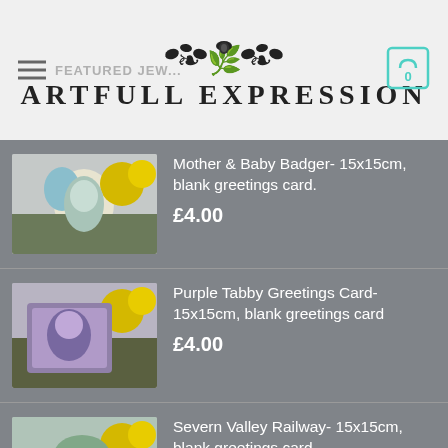ARTFULL EXPRESSION
Mother & Baby Badger- 15x15cm, blank greetings card.
£4.00
Purple Tabby Greetings Card- 15x15cm, blank greetings card
£4.00
Severn Valley Railway- 15x15cm, blank greetings card.
£4.00
Shimmer Full Collar Necklace
£895.00